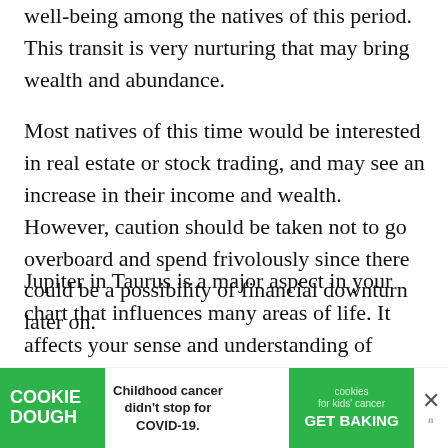well-being among the natives of this period. This transit is very nurturing that may bring wealth and abundance.
Most natives of this time would be interested in real estate or stock trading, and may see an increase in their income and wealth. However, caution should be taken not to go overboard and spend frivolously since there could be a possibility of financial downturn later on.
Jupiter in Taurus is a major aspect in your chart that influences many areas of life. It affects your sense and understanding of values, and also your approach to money, finances and possessions.
This placement often indicates someone who is cautious with...
[Figure (other): Advertisement banner: COOKIE DOUGH - Childhood cancer didn't stop for COVID-19. cookies for kids' cancer GET BAKING. Close button (X) with mute icon (w).]